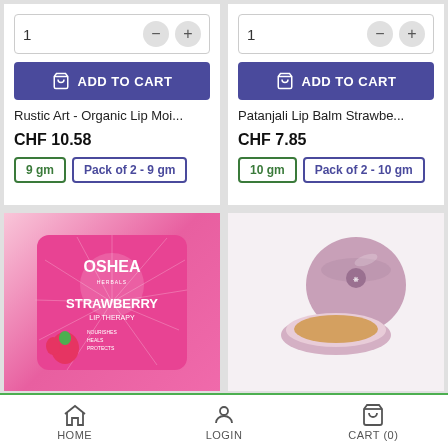[Figure (screenshot): Product card: Rustic Art - Organic Lip Moi... with quantity selector, ADD TO CART button, price CHF 10.58, size options 9 gm and Pack of 2 - 9 gm]
[Figure (screenshot): Product card: Patanjali Lip Balm Strawbe... with quantity selector, ADD TO CART button, price CHF 7.85, size options 10 gm and Pack of 2 - 10 gm]
[Figure (photo): Oshea Strawberry Lip Therapy product packaging in pink]
[Figure (photo): Pink round lip balm container open showing product]
HOME   LOGIN   CART (0)